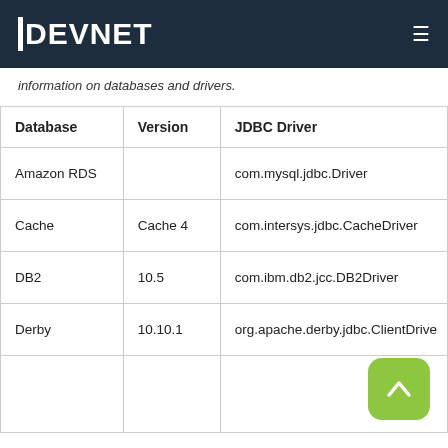DEVNET
information on databases and drivers.
| Database | Version | JDBC Driver |
| --- | --- | --- |
| Amazon RDS |  | com.mysql.jdbc.Driver |
| Cache | Cache 4 | com.intersys.jdbc.CacheDriver |
| DB2 | 10.5 | com.ibm.db2.jcc.DB2Driver |
| Derby | 10.10.1 | org.apache.derby.jdbc.ClientDriver |